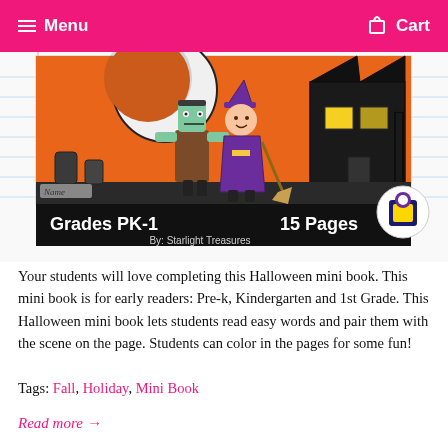Menu   Cart
[Figure (illustration): Halloween mini book product cover image showing cartoon Frankenstein and witch characters in front of a haunted house with orange sky. Shows 'Grades PK-1' and '15 Pages' labels, attributed to 'By: Starlight Treasures' with logo.]
Your students will love completing this Halloween mini book. This mini book is for early readers: Pre-k, Kindergarten and 1st Grade. This Halloween mini book lets students read easy words and pair them with the scene on the page. Students can color in the pages for some fun!
Tags: Fall, Holiday, Mini Book
Read more →